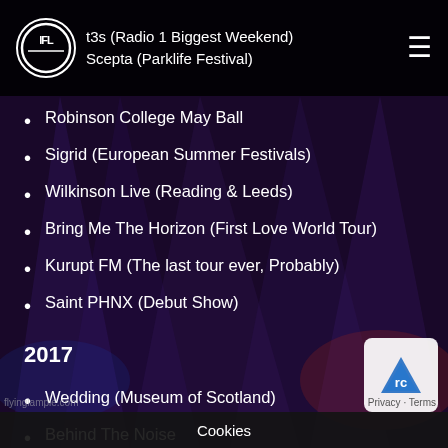t3s (Radio 1 Biggest Weekend)
Scepta (Parklife Festival)
Robinson College May Ball
Sigrid (European Summer Festivals)
Wilkinson Live (Reading & Leeds)
Bring Me The Horizon (First Love World Tour)
Kurupt FM (The last tour ever, Probably)
Saint PHNX (Debut Show)
2017
Wedding (Museum of Scotland)
Behind The Noise
Take That Wonderland (Production Photography)
Robinson College May Ball
Astro Gymnastics End of Year Show
J Hus C____ ense Tour
Cookies